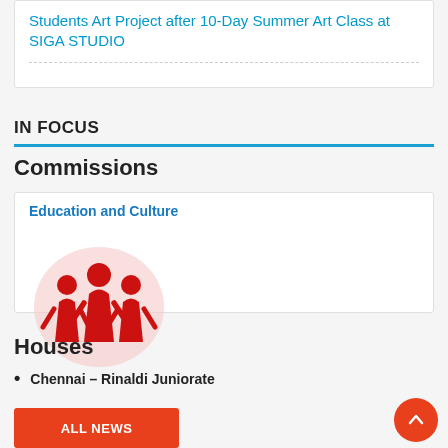Students Art Project after 10-Day Summer Art Class at SIGA STUDIO
IN FOCUS
Commissions
Education and Culture
[Figure (logo): Red icon of three figures (adults and child) standing together inside a light pink/white circular background, representing Education and Culture commission.]
Houses
Chennai – Rinaldi Juniorate
ALL NEWS